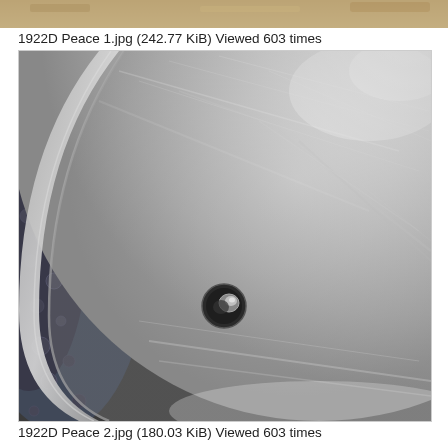[Figure (photo): Top strip of a close-up photo of a coin surface, cropped at the top of the page.]
1922D Peace 1.jpg (242.77 KiB) Viewed 603 times
[Figure (photo): Close-up macro photograph of a 1922D Peace silver dollar coin showing the coin's rim and field area. A small circular mark or hole is visible near the lower-center, with dark bubbly background texture visible on the left side. The coin surface shows silver-gray metallic texture with light scratches and luster.]
1922D Peace 2.jpg (180.03 KiB) Viewed 603 times